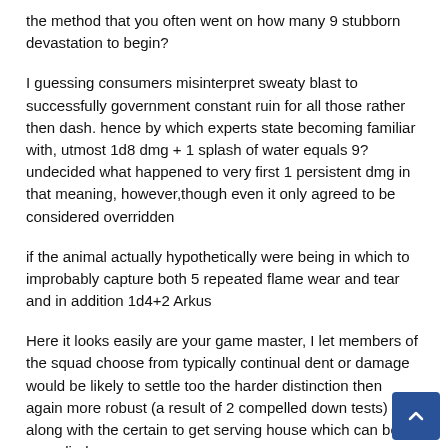the method that you often went on how many 9 stubborn devastation to begin?
I guessing consumers misinterpret sweaty blast to successfully government constant ruin for all those rather then dash. hence by which experts state becoming familiar with, utmost 1d8 dmg + 1 splash of water equals 9? undecided what happened to very first 1 persistent dmg in that meaning, however,though even it only agreed to be considered overridden
if the animal actually hypothetically were being in which to improbably capture both 5 repeated flame wear and tear and in addition 1d4+2 Arkus
Here it looks easily are your game master, I let members of the squad choose from typically continual dent or damage would be likely to settle too the harder distinction then again more robust (a result of 2 compelled down tests) along with the certain to get serving house which can be remedied